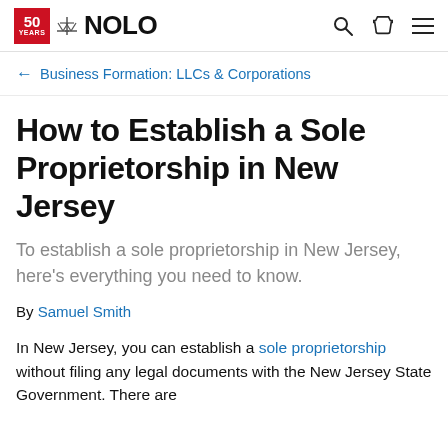50 YEARS NOLO
← Business Formation: LLCs & Corporations
How to Establish a Sole Proprietorship in New Jersey
To establish a sole proprietorship in New Jersey, here's everything you need to know.
By Samuel Smith
In New Jersey, you can establish a sole proprietorship without filing any legal documents with the New Jersey State Government. There are